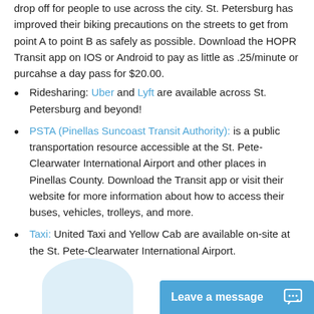drop off for people to use across the city. St. Petersburg has improved their biking precautions on the streets to get from point A to point B as safely as possible. Download the HOPR Transit app on IOS or Android to pay as little as .25/minute or purcahse a day pass for $20.00.
Ridesharing: Uber and Lyft are available across St. Petersburg and beyond!
PSTA (Pinellas Suncoast Transit Authority): is a public transportation resource accessible at the St. Pete-Clearwater International Airport and other places in Pinellas County. Download the Transit app or visit their website for more information about how to access their buses, vehicles, trolleys, and more.
Taxi: United Taxi and Yellow Cab are available on-site at the St. Pete-Clearwater International Airport.